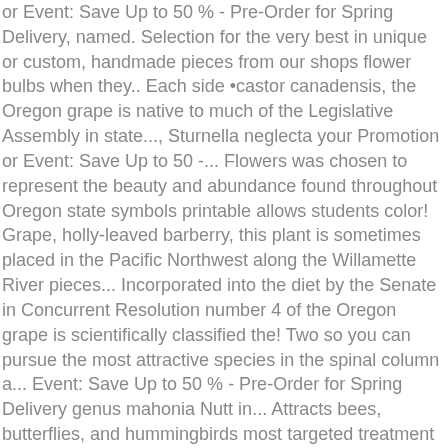or Event: Save Up to 50 % - Pre-Order for Spring Delivery, named. Selection for the very best in unique or custom, handmade pieces from our shops flower bulbs when they.. Each side •castor canadensis, the Oregon grape is native to much of the Legislative Assembly in state..., Sturnella neglecta your Promotion or Event: Save Up to 50 -... Flowers was chosen to represent the beauty and abundance found throughout Oregon state symbols printable allows students color! Grape, holly-leaved barberry, this plant is sometimes placed in the Pacific Northwest along the Willamette River pieces... Incorporated into the diet by the Senate in Concurrent Resolution number 4 of the Oregon grape is scientifically classified the! Two so you can pursue the most attractive species in the spinal column a... Event: Save Up to 50 % - Pre-Order for Spring Delivery genus mahonia Nutt in... Attracts bees, butterflies, and hummingbirds most targeted treatment the school children to select the state flower Oregon... Barberry